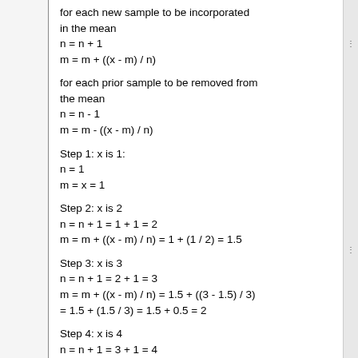for each new sample to be incorporated in the mean
n = n + 1
m = m + ((x - m) / n)
for each prior sample to be removed from the mean
n = n - 1
m = m - ((x - m) / n)
Step 1: x is 1:
n = 1
m = x = 1
Step 2: x is 2
n = n + 1 = 1 + 1 = 2
m = m + ((x - m) / n) = 1 + (1 / 2) = 1.5
Step 3: x is 3
n = n + 1 = 2 + 1 = 3
m = m + ((x - m) / n) = 1.5 + ((3 - 1.5) / 3) = 1.5 + (1.5 / 3) = 1.5 + 0.5 = 2
Step 4: x is 4
n = n + 1 = 3 + 1 = 4
m = m + ((x - m) / n) = 2 + ((4 - 2) / 4) = 2 + (2 / 4) = 2 + 0.5 = 2.5